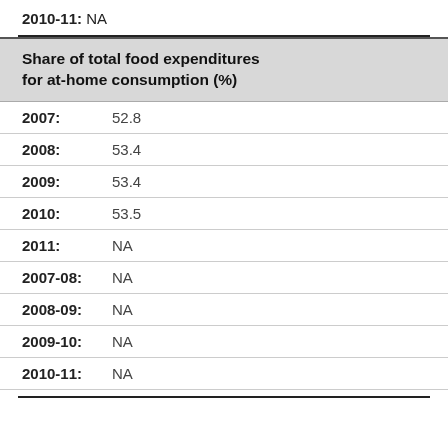2010-11:  NA
Share of total food expenditures for at-home consumption (%)
2007:  52.8
2008:  53.4
2009:  53.4
2010:  53.5
2011:  NA
2007-08:  NA
2008-09:  NA
2009-10:  NA
2010-11:  NA